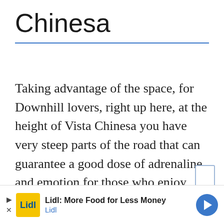Chinesa
Taking advantage of the space, for Downhill lovers, right up here, at the height of Vista Chinesa you have very steep parts of the road that can guarantee a good dose of adrenaline and emotion for those who enjoy taking the long (or skatinho) and going down.
An important detail here is that if you are a beginner, this is not your place, because this road has no shoulder. It is just an uphill and narrow
[Figure (other): Advertisement banner: Lidl: More Food for Less Money]